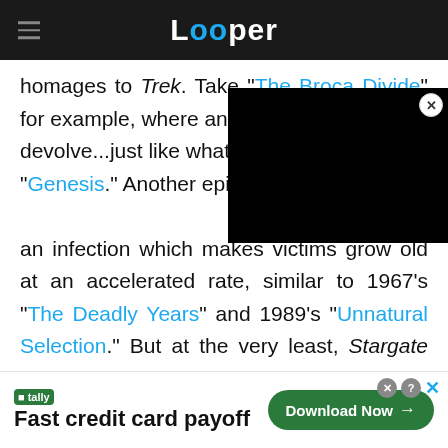Looper
homages to Trek. Take "The Broca Divide" for example, where an infection cause humans to devolve...just like what happened in TNG's "Genesis." Another episode, features an infection which makes victims grow old at an accelerated rate, similar to 1967's "The Deadly Years" and 1989's "Unnatural Selection." But at the very least, Stargate holds the honor of being the first program to show us MacGyver's adventures in space.
[Figure (screenshot): Black video player overlay partially covering the article text]
[Figure (screenshot): Advertisement banner: Tally - Fast credit card payoff, Download Now button]